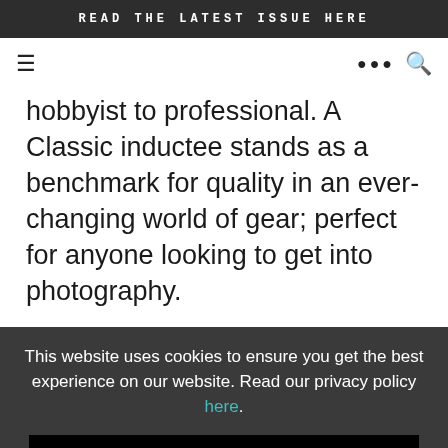READ THE LATEST ISSUE HERE
hobbyist to professional. A Classic inductee stands as a benchmark for quality in an ever-changing world of gear; perfect for anyone looking to get into photography.
This website uses cookies to ensure you get the best experience on our website. Read our privacy policy here.
Got it!